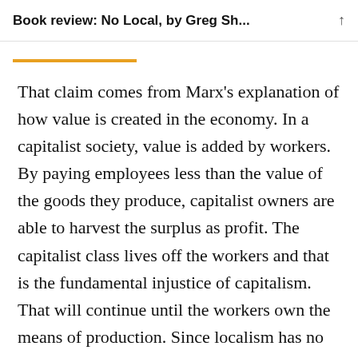Book review: No Local, by Greg Sh...
That claim comes from Marx’s explanation of how value is created in the economy. In a capitalist society, value is added by workers. By paying employees less than the value of the goods they produce, capitalist owners are able to harvest the surplus as profit. The capitalist class lives off the workers and that is the fundamental injustice of capitalism. That will continue until the workers own the means of production. Since localism has no alternative theory for explaining the workings of capitalism, it can only create small pockets of resistance. “Class struggle,” says Sharzer, “is the